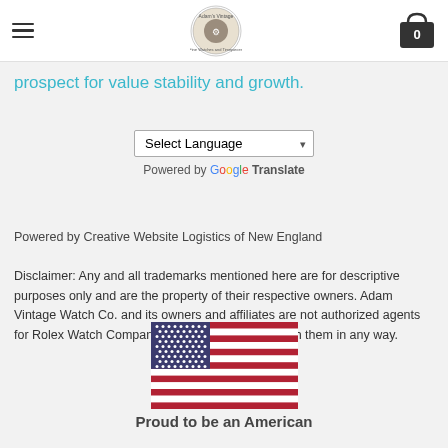[Logo: Adam Vintage Watch Co.] [Hamburger menu] [Cart: 0]
prospect for value stability and growth.
[Figure (other): Google Translate widget with language selector dropdown and 'Powered by Google Translate' text]
Powered by Creative Website Logistics of New England
Disclaimer: Any and all trademarks mentioned here are for descriptive purposes only and are the property of their respective owners. Adam Vintage Watch Co. and its owners and affiliates are not authorized agents for Rolex Watch Company and are not affiliated with them in any way.
[Figure (illustration): American flag image with text 'Proud to be an American']